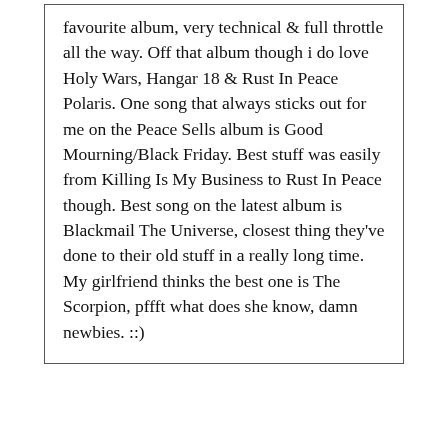favourite album, very technical & full throttle all the way. Off that album though i do love Holy Wars, Hangar 18 & Rust In Peace Polaris. One song that always sticks out for me on the Peace Sells album is Good Mourning/Black Friday. Best stuff was easily from Killing Is My Business to Rust In Peace though. Best song on the latest album is Blackmail The Universe, closest thing they've done to their old stuff in a really long time. My girlfriend thinks the best one is The Scorpion, pffft what does she know, damn newbies. ::)